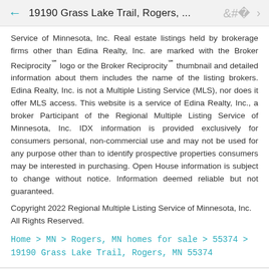19190 Grass Lake Trail, Rogers, ...
Service of Minnesota, Inc. Real estate listings held by brokerage firms other than Edina Realty, Inc. are marked with the Broker Reciprocity℠ logo or the Broker Reciprocity℠ thumbnail and detailed information about them includes the name of the listing brokers. Edina Realty, Inc. is not a Multiple Listing Service (MLS), nor does it offer MLS access. This website is a service of Edina Realty, Inc., a broker Participant of the Regional Multiple Listing Service of Minnesota, Inc. IDX information is provided exclusively for consumers personal, non-commercial use and may not be used for any purpose other than to identify prospective properties consumers may be interested in purchasing. Open House information is subject to change without notice. Information deemed reliable but not guaranteed.
Copyright 2022 Regional Multiple Listing Service of Minnesota, Inc. All Rights Reserved.
Home > MN > Rogers, MN homes for sale > 55374 > 19190 Grass Lake Trail, Rogers, MN 55374
Payment Calculator